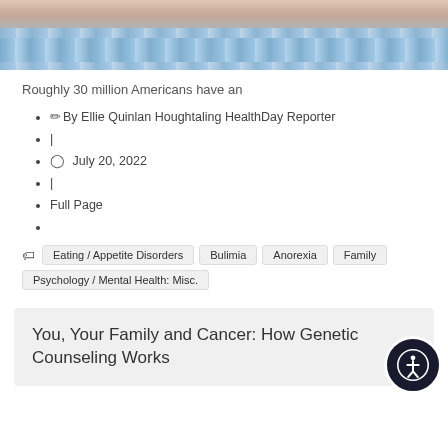[Figure (photo): Photo of feet on a scale with a blue measuring tape spread across the bottom]
Roughly 30 million Americans have an
✏ By Ellie Quinlan Houghtaling HealthDay Reporter
|
🕐 July 20, 2022
|
Full Page
Eating / Appetite Disorders  Bulimia  Anorexia  Family  Psychology / Mental Health: Misc.
You, Your Family and Cancer: How Genetic Counseling Works